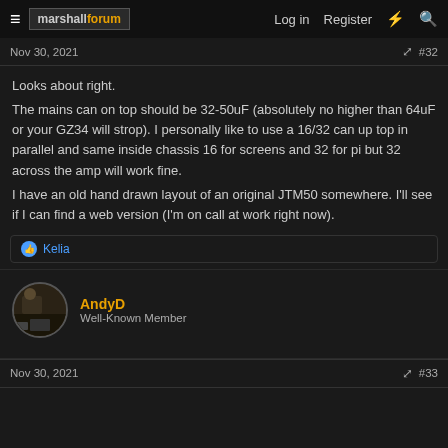marshallforum  Log in  Register
Nov 30, 2021  #32
Looks about right.
The mains can on top should be 32-50uF (absolutely no higher than 64uF or your GZ34 will strop). I personally like to use a 16/32 can up top in parallel and same inside chassis 16 for screens and 32 for pi but 32 across the amp will work fine.
I have an old hand drawn layout of an original JTM50 somewhere. I'll see if I can find a web version (I'm on call at work right now).
Kelia
AndyD
Well-Known Member
Nov 30, 2021  #33